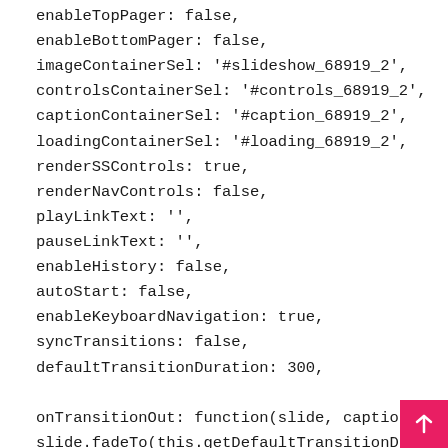enableTopPager: false,
enableBottomPager: false,
imageContainerSel: '#slideshow_68919_2',
controlsContainerSel: '#controls_68919_2',
captionContainerSel: '#caption_68919_2',
loadingContainerSel: '#loading_68919_2',
renderSSControls: true,
renderNavControls: false,
playLinkText: '',
pauseLinkText: '',
enableHistory: false,
autoStart: false,
enableKeyboardNavigation: true,
syncTransitions: false,
defaultTransitionDuration: 300,

onTransitionOut: function(slide, caption, isSync, callback) {
slide.fadeTo(this.getDefaultTransitionDuration(isSync), 0, 0